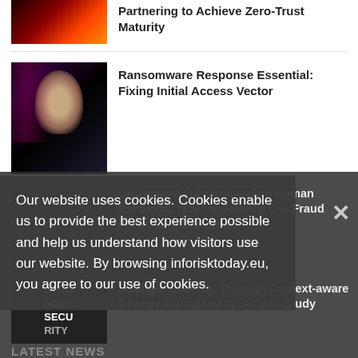[Figure (photo): Thumbnail image with fire/dark background]
Partnering to Achieve Zero-Trust Maturity
[Figure (photo): Photo of a man in a dark suit with pink lighting]
Ransomware Response Essential: Fixing Initial Access Vector
[Figure (photo): Thumbnail with question mark and dark background]
OnDemand | Understanding Human Behavior: Tackling Retail's O & Fraud Prevention Challenge
[Figure (photo): Thumbnail with text STRONGER SECURITY on dark background]
Stronger Security Through Context-aware Change Management: A Case Study
Our website uses cookies. Cookies enable us to provide the best experience possible and help us understand how visitors use our website. By browsing inforisktoday.eu, you agree to our use of cookies.
LATEST NEWS